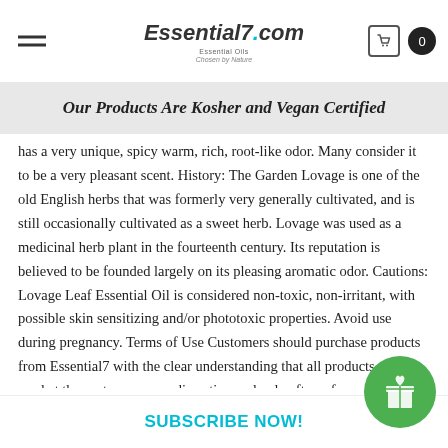Essential7.com — navigation header with logo
Our Products Are Kosher and Vegan Certified
has a very unique, spicy warm, rich, root-like odor. Many consider it to be a very pleasant scent. History: The Garden Lovage is one of the old English herbs that was formerly very generally cultivated, and is still occasionally cultivated as a sweet herb. Lovage was used as a medicinal herb plant in the fourteenth century. Its reputation is believed to be founded largely on its pleasing aromatic odor. Cautions: Lovage Leaf Essential Oil is considered non-toxic, non-irritant, with possible skin sensitizing and/or phototoxic properties. Avoid use during pregnancy. Terms of Use Customers should purchase products from Essential7 with the clear understanding that all products must be used at the customers own discretion and only after referencing Material Safety Data Sheets (MSDS) and all other relevant technical information specific to the product. Essential7 shall not be held responsible for any damages to property or for any adverse physical effects (including injuries only
SUBSCRIBE NOW!